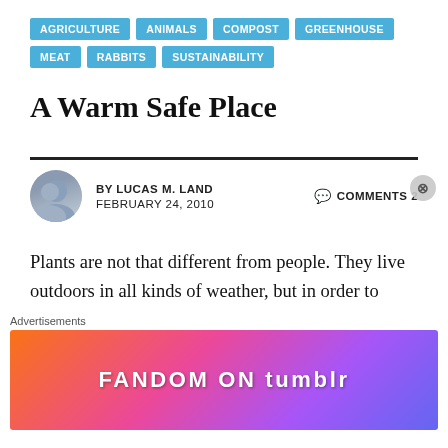AGRICULTURE   ANIMALS   COMPOST   GREENHOUSE   MEAT   RABBITS   SUSTAINABILITY
A Warm Safe Place
BY LUCAS M. LAND   FEBRUARY 24, 2010   COMMENTS 2
Plants are not that different from people. They live outdoors in all kinds of weather, but in order to flourish they need a warm safe place away from the cold and wind. Our urban gardening program has a shelter called the BUGI (Bethel's Urban Gardening Institute) Barn where we keep plants, tools and seeds
[Figure (infographic): Fandom on Tumblr advertisement banner with colorful gradient background]
Advertisements